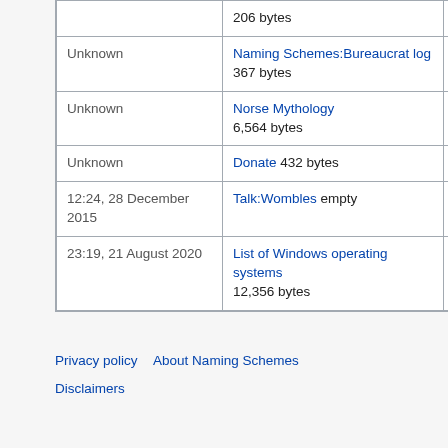| Date | Page | Duration |
| --- | --- | --- |
|  | 206 bytes | infinite |
| Unknown | Naming Schemes:Bureaucrat log 367 bytes | infinite |
| Unknown | Norse Mythology 6,564 bytes | infinite |
| Unknown | Donate 432 bytes | infinite |
| 12:24, 28 December 2015 | Talk:Wombles empty | infinite |
| 23:19, 21 August 2020 | List of Windows operating systems 12,356 bytes | infinite |
Privacy policy   About Naming Schemes   Disclaimers